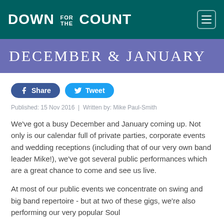DOWN FOR THE COUNT
December & January
Share  Tweet
Published: 15 Nov 2016  |  Written by: Mike Paul-Smith
We've got a busy December and January coming up. Not only is our calendar full of private parties, corporate events and wedding receptions (including that of our very own band leader Mike!), we've got several public performances which are a great chance to come and see us live.
At most of our public events we concentrate on swing and big band repertoire - but at two of these gigs, we're also performing our very popular Soul